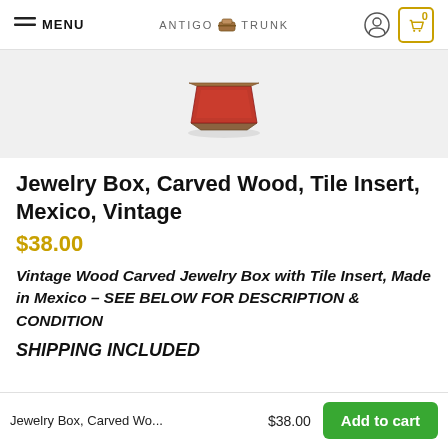MENU  ANTIGO TRUNK  [account icon] [cart: 0]
[Figure (photo): Small red and brown vintage carved wood jewelry box with tile insert, viewed from above at an angle, shown on a light gray background.]
Jewelry Box, Carved Wood, Tile Insert, Mexico, Vintage
$38.00
Vintage Wood Carved Jewelry Box with Tile Insert, Made in Mexico – SEE BELOW FOR DESCRIPTION & CONDITION
SHIPPING INCLUDED
Jewelry Box, Carved Wo...  $38.00  Add to cart